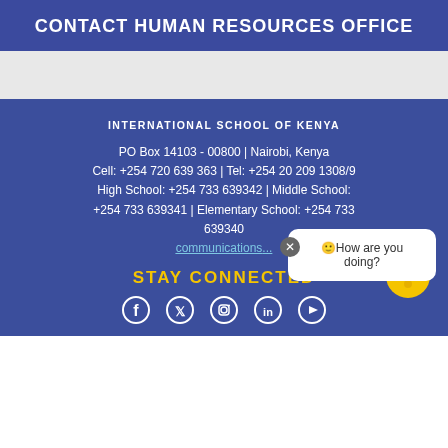CONTACT HUMAN RESOURCES OFFICE
INTERNATIONAL SCHOOL OF KENYA
PO Box 14103 - 00800 | Nairobi, Kenya
Cell: +254 720 639 363 | Tel: +254 20 209 1308/9
High School: +254 733 639342 | Middle School: +254 733 639341 | Elementary School: +254 733 639340
communications...
STAY CONNECTED
[Figure (other): Social media icons: Facebook, Twitter, Instagram, LinkedIn, YouTube]
[Figure (illustration): School mascot - colorful lion/cheetah character in yellow and blue]
How are you doing?